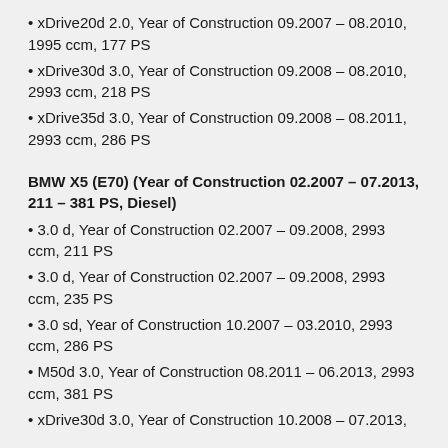xDrive20d 2.0, Year of Construction 09.2007 – 08.2010, 1995 ccm, 177 PS
xDrive30d 3.0, Year of Construction 09.2008 – 08.2010, 2993 ccm, 218 PS
xDrive35d 3.0, Year of Construction 09.2008 – 08.2011, 2993 ccm, 286 PS
BMW X5 (E70) (Year of Construction 02.2007 – 07.2013, 211 – 381 PS, Diesel)
3.0 d, Year of Construction 02.2007 – 09.2008, 2993 ccm, 211 PS
3.0 d, Year of Construction 02.2007 – 09.2008, 2993 ccm, 235 PS
3.0 sd, Year of Construction 10.2007 – 03.2010, 2993 ccm, 286 PS
M50d 3.0, Year of Construction 08.2011 – 06.2013, 2993 ccm, 381 PS
xDrive30d 3.0, Year of Construction 10.2008 – 07.2013,